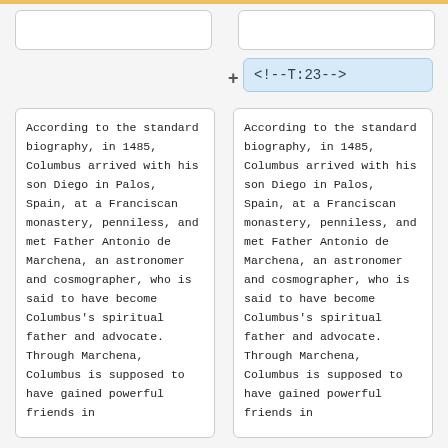<!--T:23-->
According to the standard biography, in 1485, Columbus arrived with his son Diego in Palos, Spain, at a Franciscan monastery, penniless, and met Father Antonio de Marchena, an astronomer and cosmographer, who is said to have become Columbus's spiritual father and advocate. Through Marchena, Columbus is supposed to have gained powerful friends in
According to the standard biography, in 1485, Columbus arrived with his son Diego in Palos, Spain, at a Franciscan monastery, penniless, and met Father Antonio de Marchena, an astronomer and cosmographer, who is said to have become Columbus's spiritual father and advocate. Through Marchena, Columbus is supposed to have gained powerful friends in